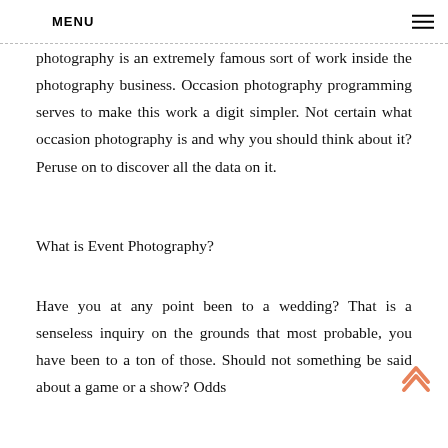MENU
may pick to take photos of the lovely dusk or mountains, while others like to recruit themselves out to individuals to take photos for them. Occasion photography is an extremely famous sort of work inside the photography business. Occasion photography programming serves to make this work a digit simpler. Not certain what occasion photography is and why you should think about it? Peruse on to discover all the data on it.
What is Event Photography?
Have you at any point been to a wedding? That is a senseless inquiry on the grounds that most probable, you have been to a ton of those. Should not something be said about a game or a show? Odds